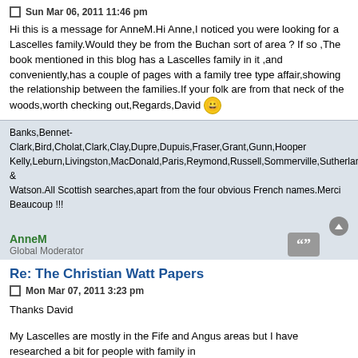Sun Mar 06, 2011 11:46 pm
Hi this is a message for AnneM.Hi Anne,I noticed you were looking for a Lascelles family.Would they be from the Buchan sort of area ? If so ,The book mentioned in this blog has a Lascelles family in it ,and conveniently,has a couple of pages with a family tree type affair,showing the relationship between the families.If your folk are from that neck of the woods,worth checking out,Regards,David :)
Banks,Bennet-Clark,Bird,Cholat,Clark,Clay,Dupre,Dupuis,Fraser,Grant,Gunn,Hooper Kelly,Leburn,Livingston,MacDonald,Paris,Reymond,Russell,Sommerville,Sutherland & Watson.All Scottish searches,apart from the four obvious French names.Merci Beaucoup !!!
AnneM
Global Moderator
Re: The Christian Watt Papers
Mon Mar 07, 2011 3:23 pm
Thanks David
My Lascelles are mostly in the Fife and Angus areas but I have researched a bit for people with family in
Buchan and the Broch so will be pleased to have a look at your